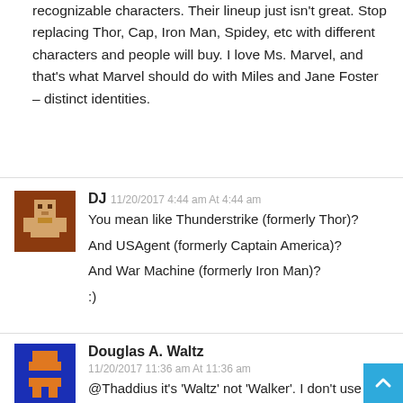recognizable characters. Their lineup just isn't great. Stop replacing Thor, Cap, Iron Man, Spidey, etc with different characters and people will buy. I love Ms. Marvel, and that's what Marvel should do with Miles and Jane Foster – distinct identities.
DJ 11/20/2017 4:44 am At 4:44 am
You mean like Thunderstrike (formerly Thor)?

And USAgent (formerly Captain America)?

And War Machine (formerly Iron Man)?

:)
Douglas A. Waltz 11/20/2017 11:36 am At 11:36 am
@Thaddius it's 'Waltz' not 'Walker'. I don't use comic books as an influence on my pre-existing political be